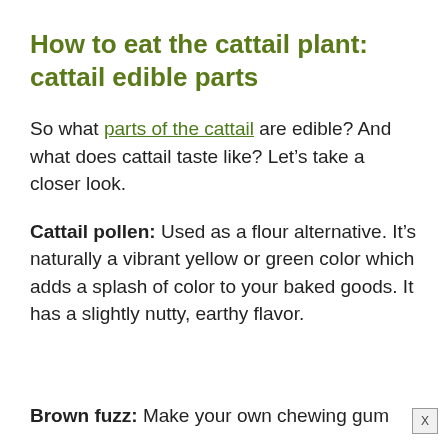How to eat the cattail plant: cattail edible parts
So what parts of the cattail are edible? And what does cattail taste like? Let’s take a closer look.
Cattail pollen: Used as a flour alternative. It’s naturally a vibrant yellow or green color which adds a splash of color to your baked goods. It has a slightly nutty, earthy flavor.
Brown fuzz: Make your own chewing gum